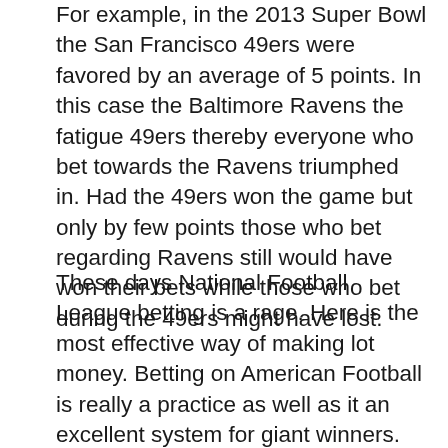For example, in the 2013 Super Bowl the San Francisco 49ers were favored by an average of 5 points. In this case the Baltimore Ravens the fatigue 49ers thereby everyone who bet towards the Ravens triumphed in. Had the 49ers won the game but only by few points those who bet regarding Ravens still would have won their bets while those who bet during the 49ers might have lost.
These days National Football League betting is a rage. Here is the most effective way of making lot money. Betting on American Football is really a practice as well as it an excellent system for giant winners. Online NFL could be the easiest right decision as you can enjoy minute by minute performance of teams on Tv shows. That is